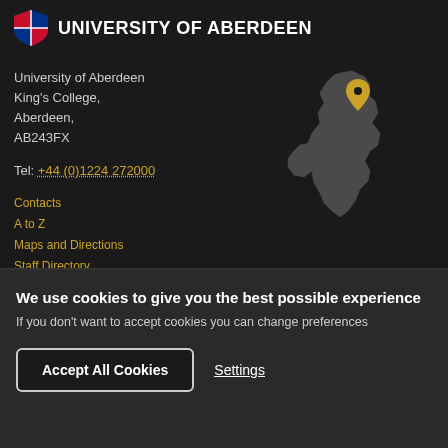UNIVERSITY OF ABERDEEN
University of Aberdeen
King's College,
Aberdeen,
AB243FX
Tel: +44 (0)1224 272000
Contacts
A to Z
Maps and Directions
Staff Directory
[Figure (map): Map of Great Britain and Ireland in dark grey, with a yellow location pin marker placed over northern Scotland near Aberdeen.]
We use cookies to give you the best possible experience
If you don't want to accept cookies you can change preferences
Accept All Cookies
Settings